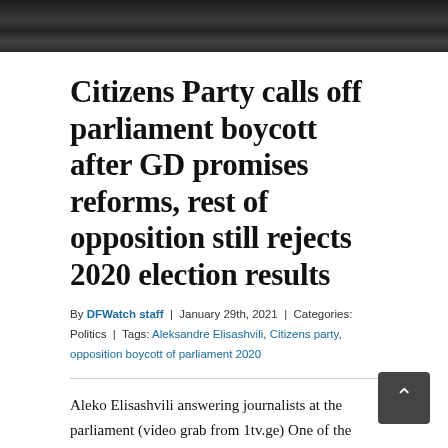[Figure (photo): Photo bar at top of page showing people, dark/shadowed image (video grab)]
Citizens Party calls off parliament boycott after GD promises reforms, rest of opposition still rejects 2020 election results
By DFWatch staff | January 29th, 2021 | Categories: Politics | Tags: Aleksandre Elisashvili, Citizens party, opposition boycott of parliament 2020
Aleko Elisashvili answering journalists at the parliament (video grab from 1tv.ge) One of the opposition parties in Georgia announced Friday that